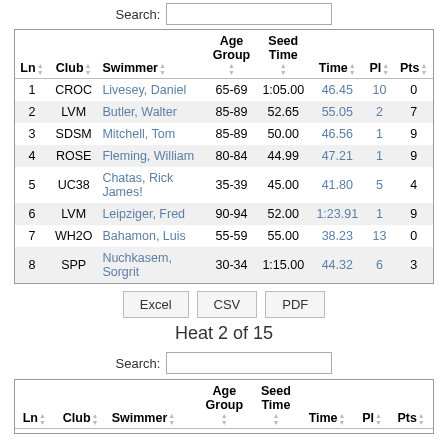| Ln | Club | Swimmer | Age Group | Seed Time | Time | Pl | Pts |
| --- | --- | --- | --- | --- | --- | --- | --- |
| 1 | CROC | Livesey, Daniel | 65-69 | 1:05.00 | 46.45 | 10 | 0 |
| 2 | LVM | Butler, Walter | 85-89 | 52.65 | 55.05 | 2 | 7 |
| 3 | SDSM | Mitchell, Tom | 85-89 | 50.00 | 46.56 | 1 | 9 |
| 4 | ROSE | Fleming, William | 80-84 | 44.99 | 47.21 | 1 | 9 |
| 5 | UC38 | Chatas, Rick James! | 35-39 | 45.00 | 41.80 | 5 | 4 |
| 6 | LVM | Leipziger, Fred | 90-94 | 52.00 | 1:23.91 | 1 | 9 |
| 7 | WH2O | Bahamon, Luis | 55-59 | 55.00 | 38.23 | 13 | 0 |
| 8 | SPP | Nuchkasem, Sorgrit | 30-34 | 1:15.00 | 44.32 | 6 | 3 |
Excel  CSV  PDF
Heat 2 of 15
| Ln | Club | Swimmer | Age Group | Seed Time | Time | Pl | Pts |
| --- | --- | --- | --- | --- | --- | --- | --- |